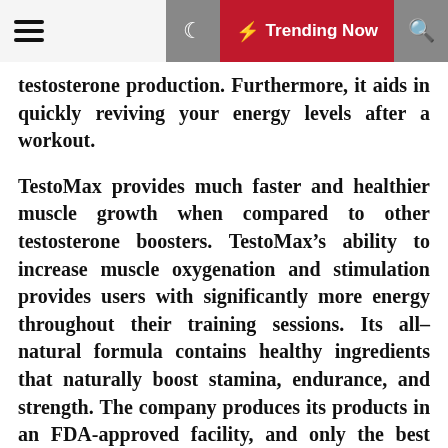Trending Now
testosterone production. Furthermore, it aids in quickly reviving your energy levels after a workout.
TestoMax provides much faster and healthier muscle growth when compared to other testosterone boosters. TestoMax’s ability to increase muscle oxygenation and stimulation provides users with significantly more energy throughout their training sessions. Its all-natural formula contains healthy ingredients that naturally boost stamina, endurance, and strength. The company produces its products in an FDA-approved facility, and only the best natural ingredients are used in their formula. As a result, their quality is guaranteed.
Highlights
Boosts Energy: This product contains the necessary ingredients to increase your energy and stamina. It may also increase your testosterone levels and help you build muscle faster. As a result, you will have increased daily